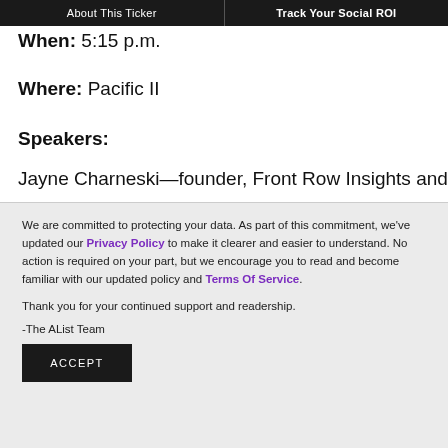About This Ticker | Track Your Social ROI
When: 5:15 p.m.
Where: Pacific II
Speakers:
Jayne Charneski—founder, Front Row Insights and
We are committed to protecting your data. As part of this commitment, we've updated our Privacy Policy to make it clearer and easier to understand. No action is required on your part, but we encourage you to read and become familiar with our updated policy and Terms Of Service.
Thank you for your continued support and readership.
-The AList Team
ACCEPT